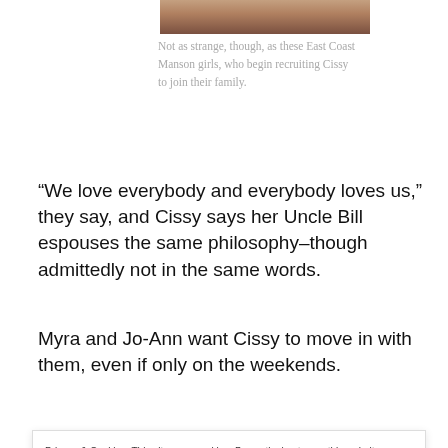[Figure (photo): Bottom edge of a photo showing people, cropped at top of page]
Not as strange, though, as these East Coast Manson girls, who begin recruiting Cissy to join their family.
“We love everybody and everybody loves us,” they say, and Cissy says her Uncle Bill espouses the same philosophy–though admittedly not in the same words.
Myra and Jo-Ann want Cissy to move in with them, even if only on the weekends.
Privacy & Cookies: This site uses cookies. By continuing to use this website, you agree to their use.
To find out more, including how to control cookies, see here: Cookie Policy
Close and accept